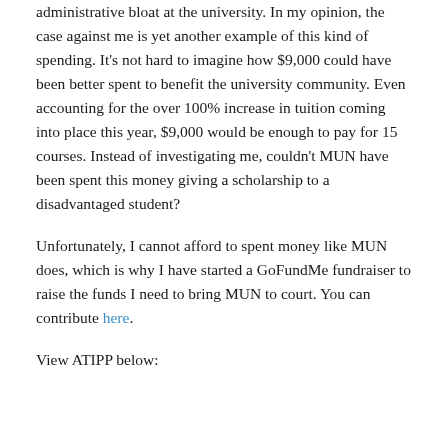administrative bloat at the university. In my opinion, the case against me is yet another example of this kind of spending. It’s not hard to imagine how $9,000 could have been better spent to benefit the university community. Even accounting for the over 100% increase in tuition coming into place this year, $9,000 would be enough to pay for 15 courses. Instead of investigating me, couldn’t MUN have been spent this money giving a scholarship to a disadvantaged student?
Unfortunately, I cannot afford to spent money like MUN does, which is why I have started a GoFundMe fundraiser to raise the funds I need to bring MUN to court. You can contribute here.
View ATIPP below: